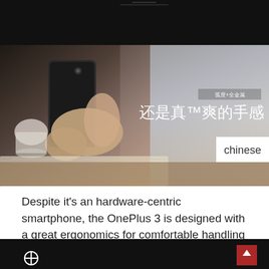[Figure (photo): A hand holding a OnePlus 3 smartphone with Chinese text overlay reading '弧度+全金属 还是真™爽的手感', with a 'chinese' label box in the bottom right corner. Background shows a person in a white shirt at a desk with a coffee cup and notebook.]
Despite it's an hardware-centric smartphone, the OnePlus 3 is designed with a great ergonomics for comfortable handling experience.
[Figure (screenshot): Bottom dark bar with OnePlus logo (O+) on the left and a red scroll-up button on the right.]